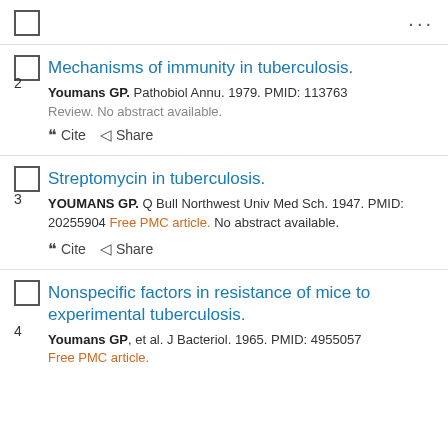...
Mechanisms of immunity in tuberculosis. Youmans GP. Pathobiol Annu. 1979. PMID: 113763. Review. No abstract available.
Streptomycin in tuberculosis. YOUMANS GP. Q Bull Northwest Univ Med Sch. 1947. PMID: 20255904 Free PMC article. No abstract available.
Nonspecific factors in resistance of mice to experimental tuberculosis. Youmans GP, et al. J Bacteriol. 1965. PMID: 4955057 Free PMC article.